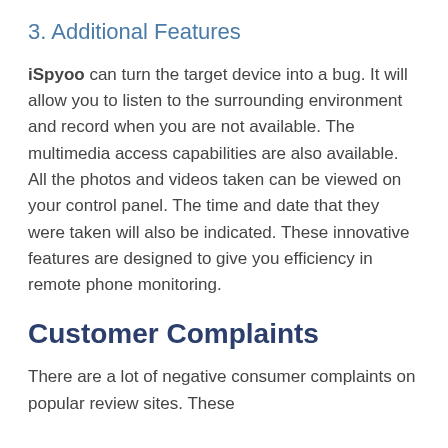3. Additional Features
iSpyoo can turn the target device into a bug. It will allow you to listen to the surrounding environment and record when you are not available. The multimedia access capabilities are also available. All the photos and videos taken can be viewed on your control panel. The time and date that they were taken will also be indicated. These innovative features are designed to give you efficiency in remote phone monitoring.
Customer Complaints
There are a lot of negative consumer complaints on popular review sites. These